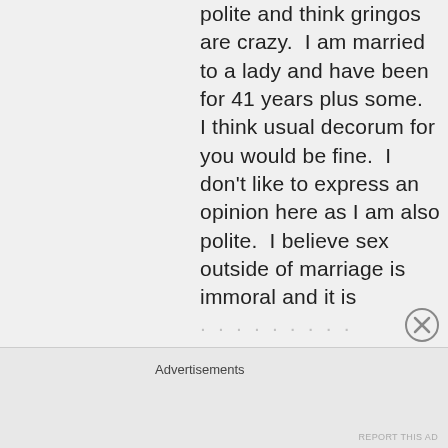polite and think gringos are crazy.  I am married to a lady and have been for 41 years plus some.  I think usual decorum for you would be fine.  I don't like to express an opinion here as I am also polite.  I believe sex outside of marriage is immoral and it is
Advertisements